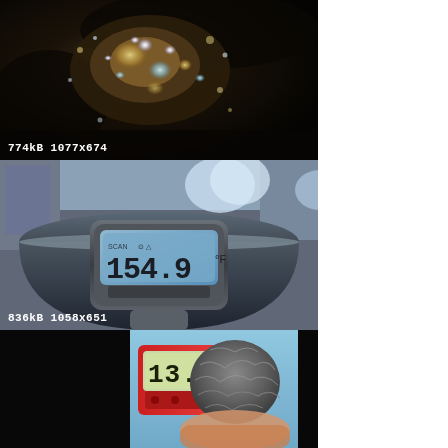[Figure (photo): Close-up photo of boiling or bubbling liquid in a dark metallic container, showing reflective bubbles and droplets. Image metadata overlay shows file size and dimensions.]
[Figure (photo): Photo of a metallic pot or pan with a digital infrared thermometer being pointed into it, displaying a temperature reading of 154.9°F. Items visible in background on a workbench. Image metadata overlay shows file size and dimensions.]
[Figure (photo): Photo of a red digital thermometer/multimeter displaying 13.8 next to a steel wool pad, held by a hand against a light blue background.]